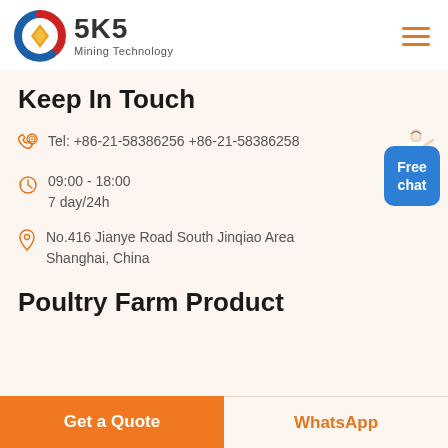[Figure (logo): SKS Mining Technology logo with red/blue/orange circular emblem and bold SKS text]
Keep In Touch
Tel: +86-21-58386256 +86-21-58386258
09:00 - 18:00
7 day/24h
No.416 Jianye Road South Jinqiao Area Shanghai, China
[Figure (illustration): Customer service person with headset and blue Free chat badge]
Poultry Farm Product
Get a Quote
WhatsApp